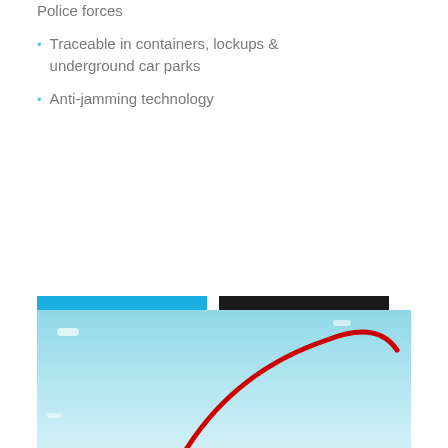Police forces
Traceable in containers, lockups & underground car parks
Anti-jamming technology
[Figure (other): Blue sky background with a red curved line/arc (possibly part of a logo or product illustration), with small white clouds]
ADD TO CART
DETAILS